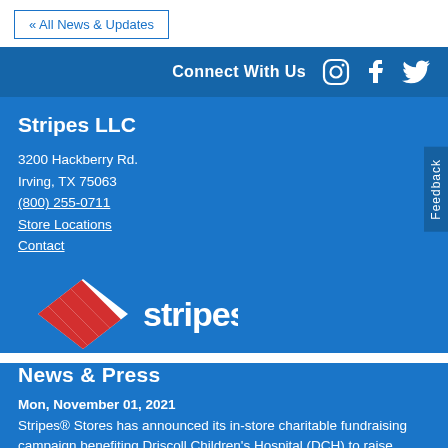« All News & Updates
Connect With Us
Stripes LLC
3200 Hackberry Rd.
Irving, TX 75063
(800) 255-0711
Store Locations
Contact
[Figure (logo): Stripes convenience store logo with red diamond stripe icon and 'stripes.' wordmark in white]
News & Press
Mon, November 01, 2021
Stripes® Stores has announced its in-store charitable fundraising campaign benefiting Driscoll Children's Hospital (DCH) to raise...